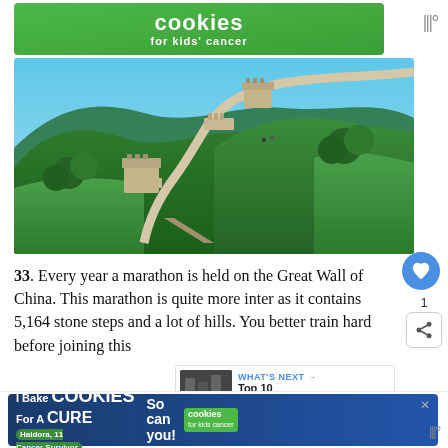[Figure (other): Advertisement banner: Cookies for kids' cancer with green background]
[Figure (photo): Aerial photograph of the Great Wall of China winding through green forested hills under a blue sky]
33. Every year a marathon is held on the Great Wall of China. This marathon is quite more interesting as it contains 5,164 stone steps and a lot of hills. You better train hard before joining this
[Figure (other): What's Next widget showing thumbnail of Top 10 Famous...]
34. With so many people dying during the construction of the Great Wall, it became...
[Figure (other): Bottom advertisement banner: I Bake Cookies For A Cure - Haldora, 11 Cancer Survivor - So can you! - cookies for kids cancer]